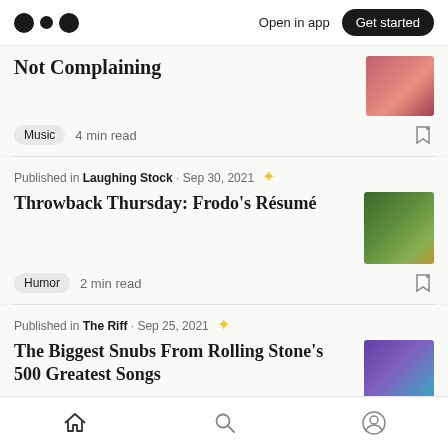Medium logo | Open in app | Get started
Not Complaining
Music  4 min read
Published in Laughing Stock · Sep 30, 2021
Throwback Thursday: Frodo's Résumé
Humor  2 min read
Published in The Riff · Sep 25, 2021
The Biggest Snubs From Rolling Stone's 500 Greatest Songs
Music  3 min read
Home | Search | Profile